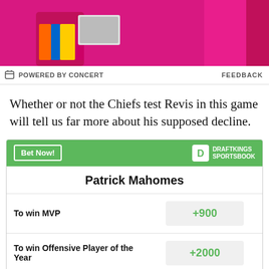[Figure (illustration): Pink/magenta advertisement banner for 'technology for all' with a person holding a laptop on the left side]
POWERED BY CONCERT   FEEDBACK
Whether or not the Chiefs test Revis in this game will tell us far more about his supposed decline.
| Patrick Mahomes |  |
| --- | --- |
| To win MVP | +900 |
| To win Offensive Player of the Year | +2000 |
| Most Passing Yards in League | +800 |